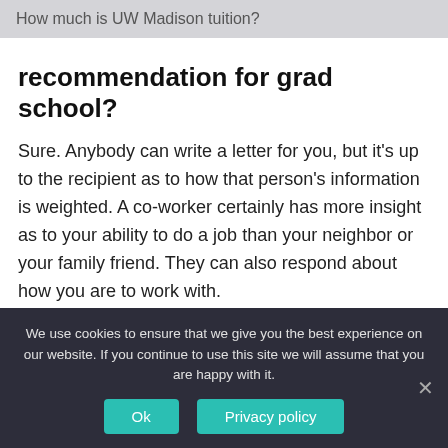How much is UW Madison tuition?
recommendation for grad school?
Sure. Anybody can write a letter for you, but it's up to the recipient as to how that person's information is weighted. A co-worker certainly has more insight as to your ability to do a job than your neighbor or your family friend. They can also respond about how you are to work with.
How do I commit to Marquette?
In order to officially commit to Marquette and reserve your
We use cookies to ensure that we give you the best experience on our website. If you continue to use this site we will assume that you are happy with it.